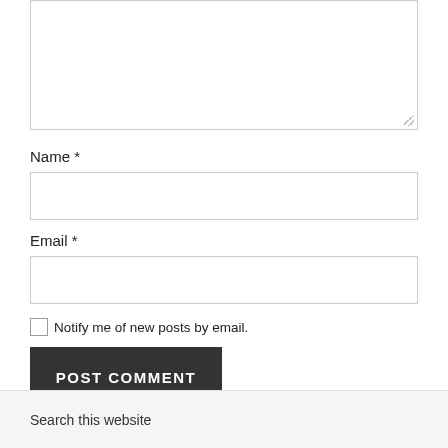[Figure (screenshot): Textarea input box (comment field) with resize handle in bottom-right corner]
Name *
[Figure (screenshot): Name input text field, empty]
Email *
[Figure (screenshot): Email input text field, empty]
Notify me of new posts by email.
POST COMMENT
Search this website